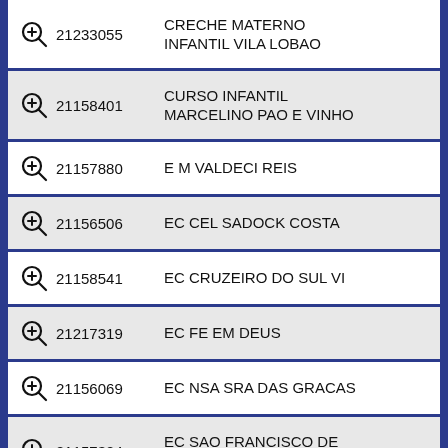21233055 CRECHE MATERNO INFANTIL VILA LOBAO
21158401 CURSO INFANTIL MARCELINO PAO E VINHO
21157880 E M VALDECI REIS
21156506 EC CEL SADOCK COSTA
21158541 EC CRUZEIRO DO SUL VI
21217319 EC FE EM DEUS
21156069 EC NSA SRA DAS GRACAS
21157324 EC SAO FRANCISCO DE ASSIS